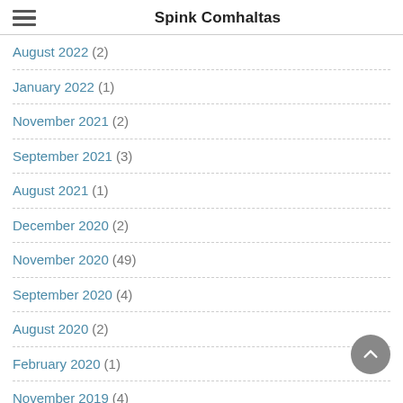Spink Comhaltas
August 2022 (2)
January 2022 (1)
November 2021 (2)
September 2021 (3)
August 2021 (1)
December 2020 (2)
November 2020 (49)
September 2020 (4)
August 2020 (2)
February 2020 (1)
November 2019 (4)
October 2019 (5)